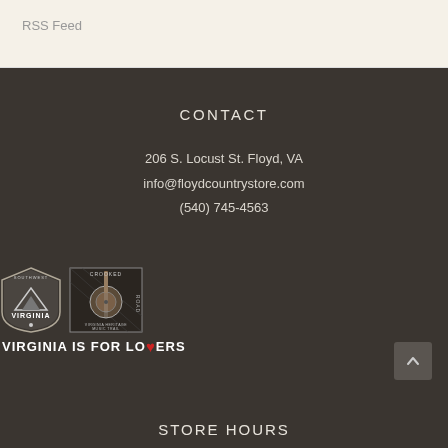RSS Feed
CONTACT
206 S. Locust St. Floyd, VA
info@floydcountrystore.com
(540) 745-4563
[Figure (logo): Southwest Virginia shield logo and Crooked Road Virginia Heritage Music Trail logo]
VIRGINIA IS FOR LOVERS
STORE HOURS